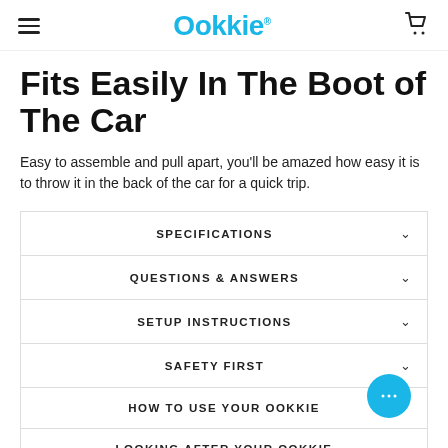Ookkie
Fits Easily In The Boot of The Car
Easy to assemble and pull apart, you'll be amazed how easy it is to throw it in the back of the car for a quick trip.
SPECIFICATIONS
QUESTIONS & ANSWERS
SETUP INSTRUCTIONS
SAFETY FIRST
HOW TO USE YOUR OOKKIE
LOOKING AFTER YOUR OOKKIE